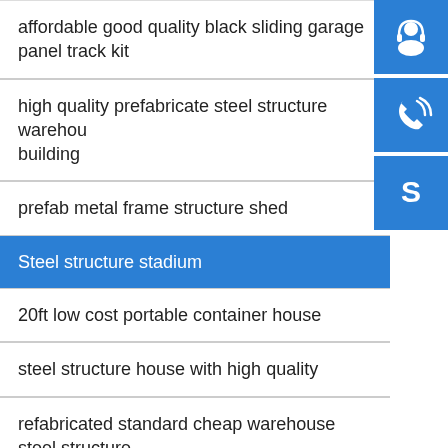affordable good quality black sliding garage panel track kit
high quality prefabricate steel structure warehouse building
prefab metal frame structure shed
Steel structure stadium
20ft low cost portable container house
steel structure house with high quality
refabricated standard cheap warehouse steel structure
[Figure (illustration): Three blue square icon buttons on the right sidebar: a customer service/headset icon, a phone/call icon, and a Skype icon.]